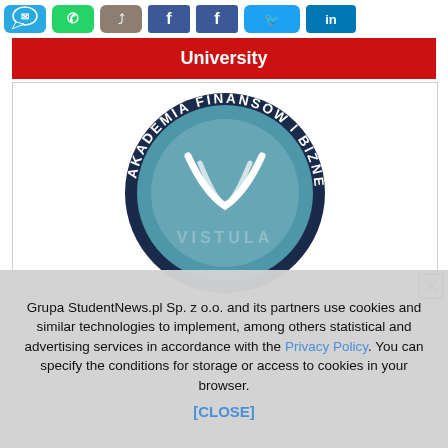[Figure (screenshot): Social media sharing icons bar at top: message/chat icon (blue), WhatsApp (green), share/grey, Facebook (blue), Facebook (blue), Twitter (blue), LinkedIn (blue)]
University
[Figure (logo): Akademia Finansów i Biznesu Vistula circular logo — teal/blue circle with stylized white wave/V shape, dark text around the ring reading AKADEMIA FINANSÓW I BIZNESU, with VISTULA watermark text below]
Grupa StudentNews.pl Sp. z o.o. and its partners use cookies and similar technologies to implement, among others statistical and advertising services in accordance with the Privacy Policy. You can specify the conditions for storage or access to cookies in your browser. [CLOSE]